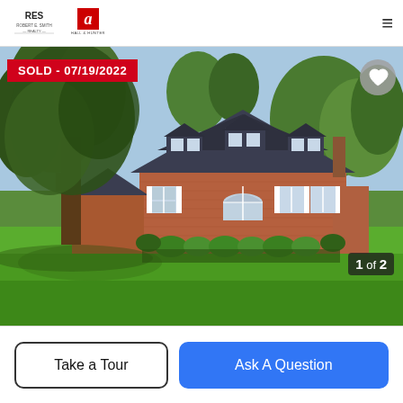RES Robert E. Smith Realty | Agent Hall & Hunter | Menu
[Figure (photo): Exterior photo of a large brick Colonial/Cape Cod style house with dark mansard/gambrel roof, white trim windows and shutters, lush green lawn in foreground, large mature trees on left and right sides, manicured shrubs along foundation, sunny summer day.]
SOLD - 07/19/2022
1 of 2
Take a Tour
Ask A Question